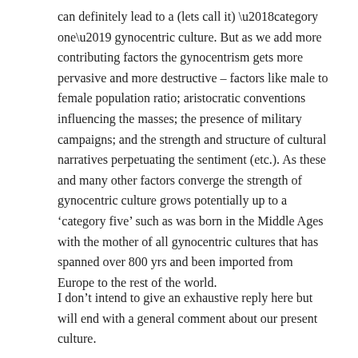can definitely lead to a (lets call it) ‘category one’ gynocentric culture. But as we add more contributing factors the gynocentrism gets more pervasive and more destructive – factors like male to female population ratio; aristocratic conventions influencing the masses; the presence of military campaigns; and the strength and structure of cultural narratives perpetuating the sentiment (etc.). As these and many other factors converge the strength of gynocentric culture grows potentially up to a ‘category five’ such as was born in the Middle Ages with the mother of all gynocentric cultures that has spanned over 800 yrs and been imported from Europe to the rest of the world.
I don’t intend to give an exhaustive reply here but will end with a general comment about our present culture.